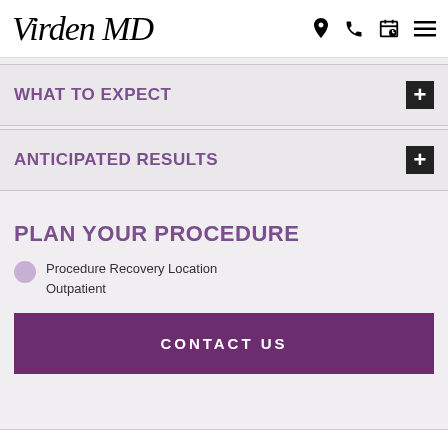Virden MD
WHAT TO EXPECT
ANTICIPATED RESULTS
PLAN YOUR PROCEDURE
Procedure Recovery Location
Outpatient
CONTACT US